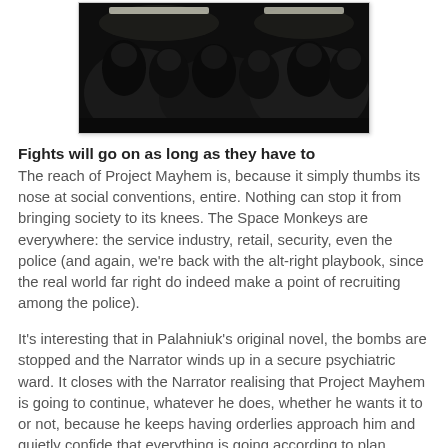[Figure (photo): Dark photograph showing people seated in what appears to be a dimly lit train or subway car, with overhead fluorescent lights visible.]
Fights will go on as long as they have to
The reach of Project Mayhem is, because it simply thumbs its nose at social conventions, entire. Nothing can stop it from bringing society to its knees. The Space Monkeys are everywhere: the service industry, retail, security, even the police (and again, we're back with the alt-right playbook, since the real world far right do indeed make a point of recruiting among the police).
It's interesting that in Palahniuk's original novel, the bombs are stopped and the Narrator winds up in a secure psychiatric ward. It closes with the Narrator realising that Project Mayhem is going to continue, whatever he does, whether he wants it to or not, because he keeps having orderlies approach him and quietly confide that everything is going according to plan.